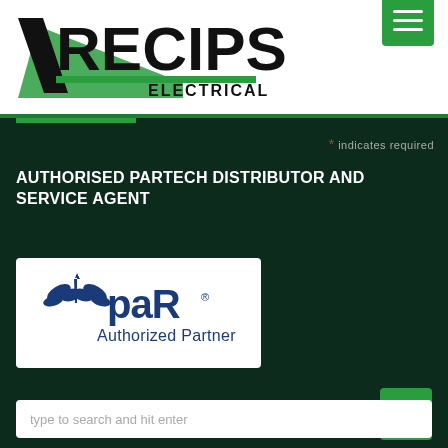[Figure (logo): RECIPS ELECTRICAL logo with green chevron/slash mark and black bold text]
* indicates required
AUTHORISED PARTECH DISTRIBUTOR AND SERVICE AGENT
[Figure (logo): PAR Authorized Partner logo - blue PAR text with blue plant/leaf icon on white background]
OUR SERVICES
type to search and hit enter